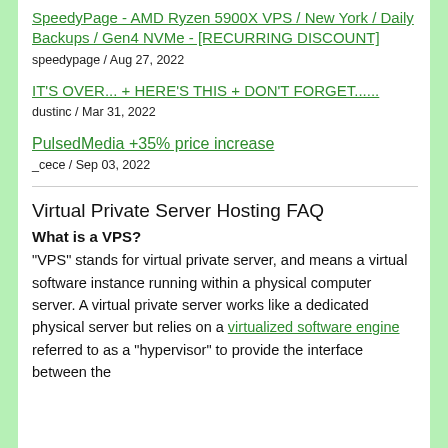SpeedyPage - AMD Ryzen 5900X VPS / New York / Daily Backups / Gen4 NVMe - [RECURRING DISCOUNT]
speedypage / Aug 27, 2022
IT'S OVER... + HERE'S THIS + DON'T FORGET......
dustinc / Mar 31, 2022
PulsedMedia +35% price increase
_cece / Sep 03, 2022
Virtual Private Server Hosting FAQ
What is a VPS?
"VPS" stands for virtual private server, and means a virtual software instance running within a physical computer server. A virtual private server works like a dedicated physical server but relies on a virtualized software engine referred to as a "hypervisor" to provide the interface between the